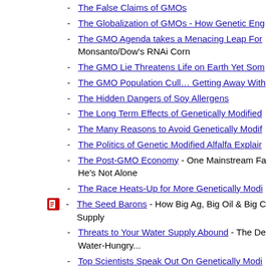- The False Claims of GMOs
- The Globalization of GMOs - How Genetic Eng…
- The GMO Agenda takes a Menacing Leap For… Monsanto/Dow's RNAi Corn
- The GMO Lie Threatens Life on Earth Yet Som…
- The GMO Population Cull… Getting Away With…
- The Hidden Dangers of Soy Allergens
- The Long Term Effects of Genetically Modified…
- The Many Reasons to Avoid Genetically Modif…
- The Politics of Genetic Modified Alfalfa Explair…
- The Post-GMO Economy - One Mainstream Fa… He's Not Alone
- The Race Heats-Up for More Genetically Modi…
- The Seed Barons - How Big Ag, Big Oil & Big … Supply
- Threats to Your Water Supply Abound - The D… Water-Hungry...
- Top Scientists Speak Out On Genetically Modi…
- Toxicology Expert Speaks Out About Roundup…
Español - ¡Transgénicos En Mi Nevera!
Español - Transgénicos Que Matan De Hambre